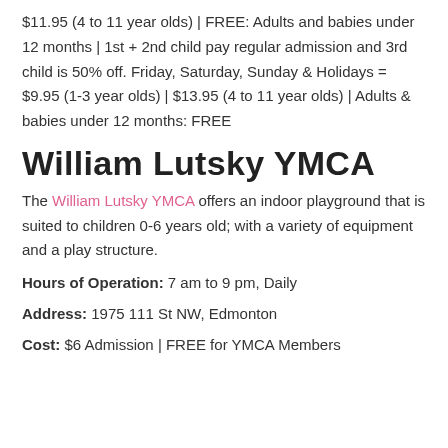$11.95 (4 to 11 year olds) | FREE: Adults and babies under 12 months | 1st + 2nd child pay regular admission and 3rd child is 50% off. Friday, Saturday, Sunday & Holidays = $9.95 (1-3 year olds) | $13.95 (4 to 11 year olds) | Adults & babies under 12 months: FREE
William Lutsky YMCA
The William Lutsky YMCA offers an indoor playground that is suited to children 0-6 years old; with a variety of equipment and a play structure.
Hours of Operation: 7 am to 9 pm, Daily
Address: 1975 111 St NW, Edmonton
Cost: $6 Admission | FREE for YMCA Members